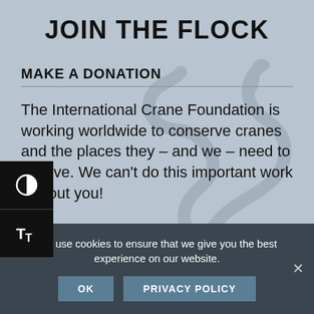JOIN THE FLOCK
MAKE A DONATION
The International Crane Foundation is working worldwide to conserve cranes and the places they – and we – need to survive. We can't do this important work without you!
We use cookies to ensure that we give you the best experience on our website.